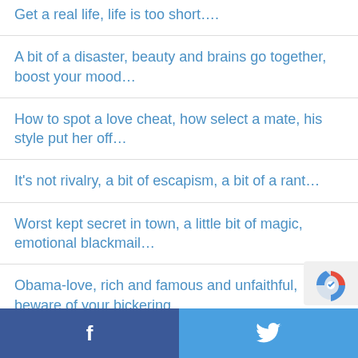Get a real life, life is too short….
A bit of a disaster, beauty and brains go together, boost your mood…
How to spot a love cheat, how select a mate, his style put her off…
It's not rivalry, a bit of escapism, a bit of a rant…
Worst kept secret in town, a little bit of magic, emotional blackmail…
Obama-love, rich and famous and unfaithful, beware of your bickering….
f  🐦